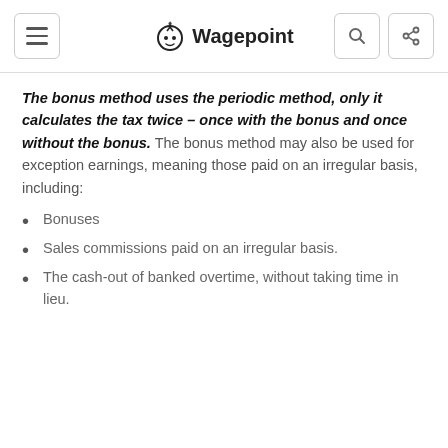Wagepoint
The bonus method uses the periodic method, only it calculates the tax twice – once with the bonus and once without the bonus. The bonus method may also be used for exception earnings, meaning those paid on an irregular basis, including:
Bonuses
Sales commissions paid on an irregular basis.
The cash-out of banked overtime, without taking time in lieu.